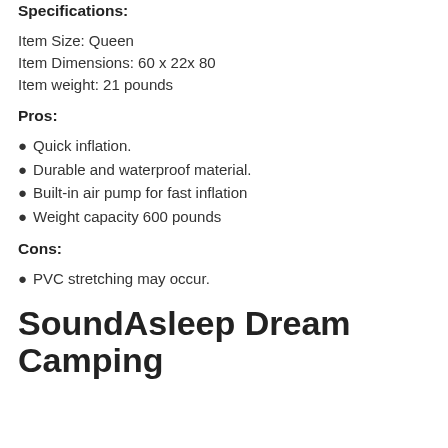Specifications:
Item Size: Queen
Item Dimensions: 60 x 22x 80
Item weight: 21 pounds
Pros:
Quick inflation.
Durable and waterproof material.
Built-in air pump for fast inflation
Weight capacity 600 pounds
Cons:
PVC stretching may occur.
SoundAsleep Dream Camping